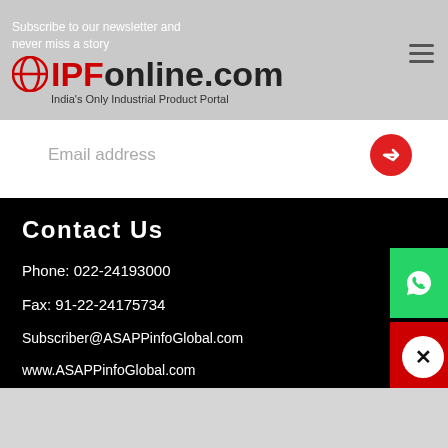Subscribe to our newsletter and never miss a story — IPFonline.com — India's Only Industrial Product Portal
Email address
Contact Us
Phone: 022-24193000
Fax: 91-22-24175734
Subscriber@ASAPPinfoGlobal.com
www.ASAPPinfoGlobal.com
ASAPP INFO GLOBAL SERVICES PVT. LTD A-303, NAVBHARAT ESTATE, ZAKARIA BUNDER ROAD, SEWRI(WEST), MUMBAI-400 015, MAHARASHTRA, INDIA.